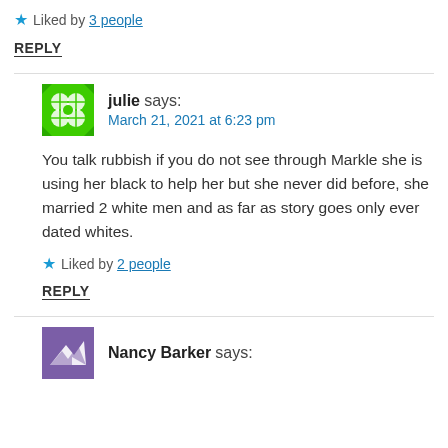★ Liked by 3 people
REPLY
julie says:
March 21, 2021 at 6:23 pm
You talk rubbish if you do not see through Markle she is using her black to help her but she never did before, she married 2 white men and as far as story goes only ever dated whites.
★ Liked by 2 people
REPLY
Nancy Barker says: